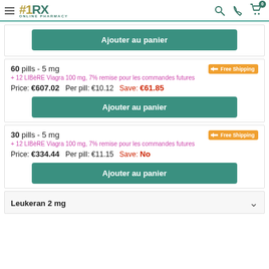#1RX ONLINE PHARMACY
Ajouter au panier (button, top partial card)
60 pills - 5 mg
+ 12 LIBèRE Viagra 100 mg, 7% remise pour les commandes futures
Price: €607.02  Per pill: €10.12  Save: €61.85
Ajouter au panier (button, 60 pills card)
30 pills - 5 mg
+ 12 LIBèRE Viagra 100 mg, 7% remise pour les commandes futures
Price: €334.44  Per pill: €11.15  Save: No
Ajouter au panier (button, 30 pills card)
Leukeran 2 mg